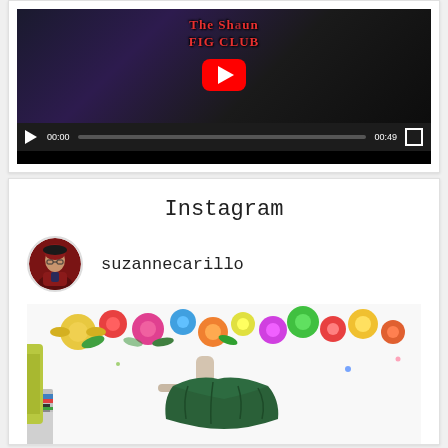[Figure (screenshot): YouTube video player showing a thumbnail with red neon text 'The Shaun FIG CLUB' and a YouTube play button overlay. Below is a video control bar with play button, timestamp 00:00, progress bar, end time 00:49, and fullscreen button.]
Instagram
[Figure (screenshot): Instagram widget showing a circular profile photo of a woman wearing a black beret and red jacket, with username 'suzannecarillo' displayed next to it, and below a photo of a green draped garment on a mannequin against a white wall with colorful floral decorations.]